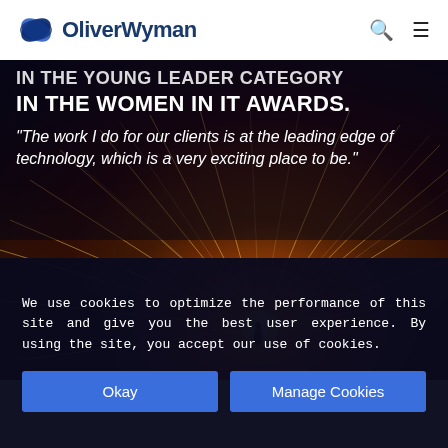[Figure (logo): Oliver Wyman logo — blue pentagon/shield icon followed by bold navy text 'OliverWyman']
[Figure (photo): Hero image showing a person doing steel wool spinning with dramatic light trails radiating outward on a dark beach background. Overlaid white bold text reads: 'IN THE YOUNG LEADER CATEGORY IN THE WOMEN IN IT AWARDS.' and a quote: '"The work I do for our clients is at the leading edge of technology, which is a very exciting place to be."']
We use cookies to optimize the performance of this site and give you the best user experience. By using the site, you accept our use of cookies.
Okay
Manage Cookies